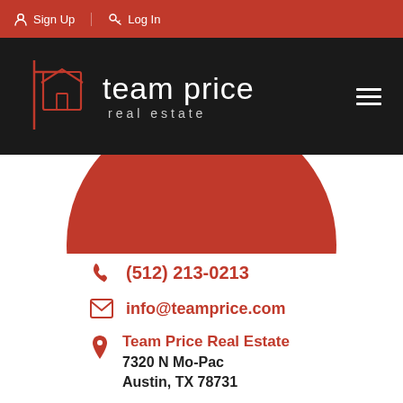Sign Up  Log In
[Figure (logo): Team Price Real Estate logo — house icon outline in red/white on black background with text 'team price real estate']
[Figure (illustration): Large red circle decoration partially visible below the logo bar]
(512) 213-0213
info@teamprice.com
Team Price Real Estate
7320 N Mo-Pac
Austin, TX 78731